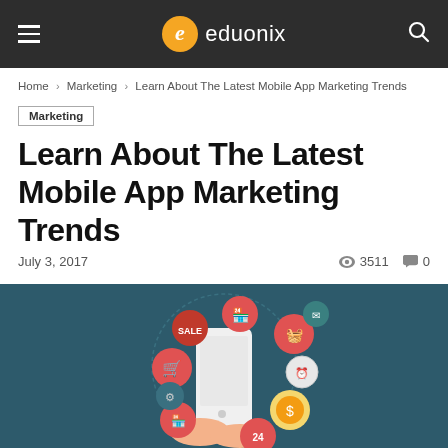eduonix
Home › Marketing › Learn About The Latest Mobile App Marketing Trends
Marketing
Learn About The Latest Mobile App Marketing Trends
July 3, 2017   👁 3511  💬 0
[Figure (illustration): Illustration of a person's hands holding a smartphone with mobile app marketing icons (shopping cart, sale tag, store, basket, coin, 24hr service, etc.) arranged in a circle around the phone on a dark teal background.]